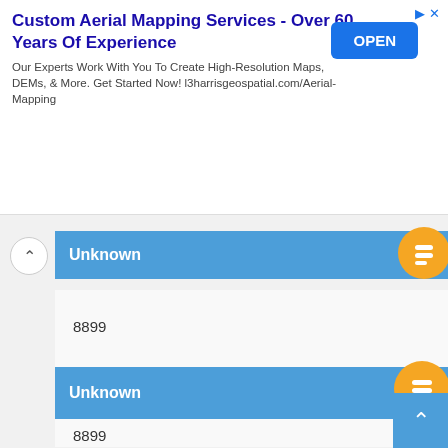[Figure (screenshot): Advertisement banner for Custom Aerial Mapping Services by l3harrisgeospatial.com with an OPEN button]
Unknown
8899
11 December 2021 at 19:38
Reply
Unknown
8899